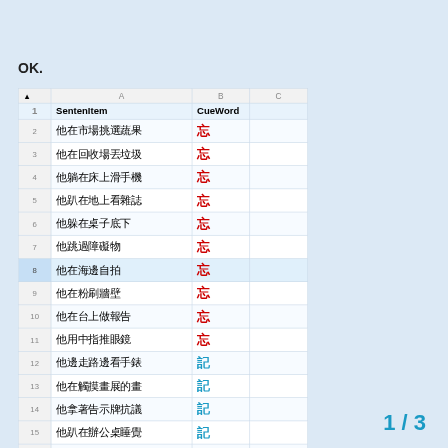OK.
|  | A | B | C |
| --- | --- | --- | --- |
| 1 | SentenItem | CueWord |  |
| 2 | 他在市場挑選蔬果 | 忘 |  |
| 3 | 他在回收場丟垃圾 | 忘 |  |
| 4 | 他躺在床上滑手機 | 忘 |  |
| 5 | 他趴在地上看雜誌 | 忘 |  |
| 6 | 他躲在桌子底下 | 忘 |  |
| 7 | 他跳過障礙物 | 忘 |  |
| 8 | 他在海邊自拍 | 忘 |  |
| 9 | 他在粉刷牆壁 | 忘 |  |
| 10 | 他在台上做報告 | 忘 |  |
| 11 | 他用中指推眼鏡 | 忘 |  |
| 12 | 他邊走路邊看手錶 | 記 |  |
| 13 | 他在觸摸畫展的畫 | 記 |  |
| 14 | 他拿著告示牌抗議 | 記 |  |
| 15 | 他趴在辦公桌睡覺 | 記 |  |
| 16 | 他在路上邊走邊吃 | 記 |  |
1 / 3